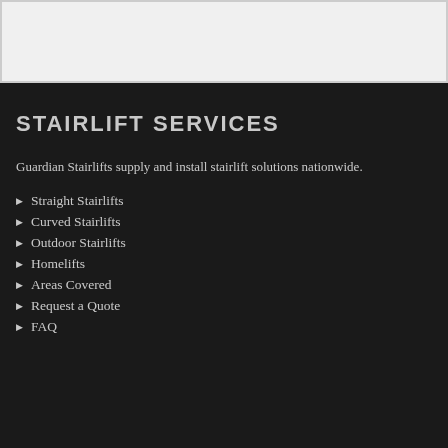STAIRLIFT SERVICES
Guardian Stairlifts supply and install stairlift solutions nationwide.
Straight Stairlifts
Curved Stairlifts
Outdoor Stairlifts
Homelifts
Areas Covered
Request a Quote
FAQ